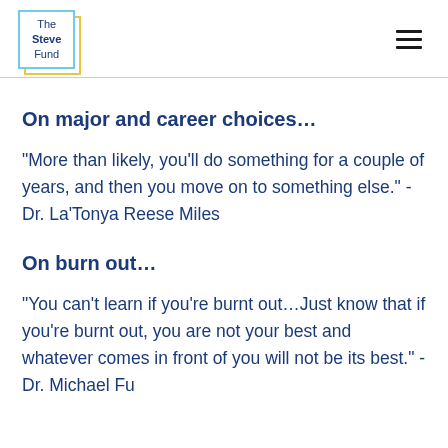The Steve Fund
On major and career choices…
“More than likely, you’ll do something for a couple of years, and then you move on to something else.” -Dr. La’Tonya Reese Miles
On burn out…
“You can’t learn if you’re burnt out…Just know that if you’re burnt out, you are not your best and whatever comes in front of you will not be its best.” -Dr. Michael Fu